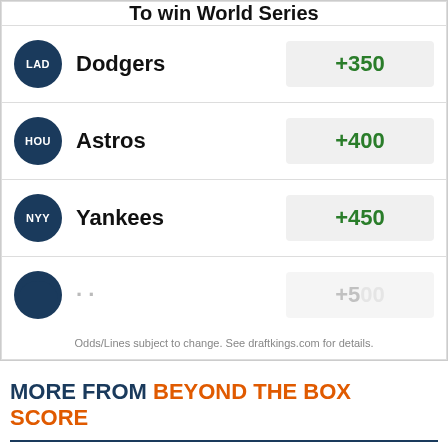To win World Series
| Team | Odds |
| --- | --- |
| Dodgers | +350 |
| Astros | +400 |
| Yankees | +450 |
| ... | +500 |
Odds/Lines subject to change. See draftkings.com for details.
MORE FROM BEYOND THE BOX SCORE
The Royals are on the verge of returning to relevancy
Morning Mound Visit: Reds sign Tommy Pham to one-year deal
The Tigers are hungry for success